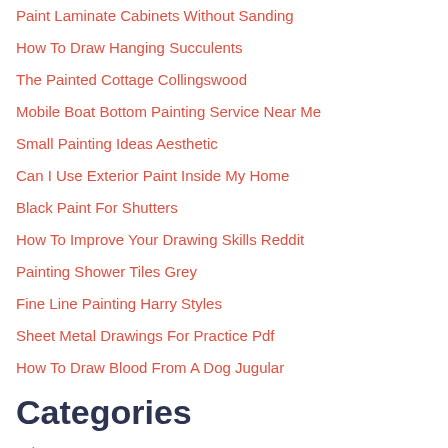Paint Laminate Cabinets Without Sanding
How To Draw Hanging Succulents
The Painted Cottage Collingswood
Mobile Boat Bottom Painting Service Near Me
Small Painting Ideas Aesthetic
Can I Use Exterior Paint Inside My Home
Black Paint For Shutters
How To Improve Your Drawing Skills Reddit
Painting Shower Tiles Grey
Fine Line Painting Harry Styles
Sheet Metal Drawings For Practice Pdf
How To Draw Blood From A Dog Jugular
Categories
color